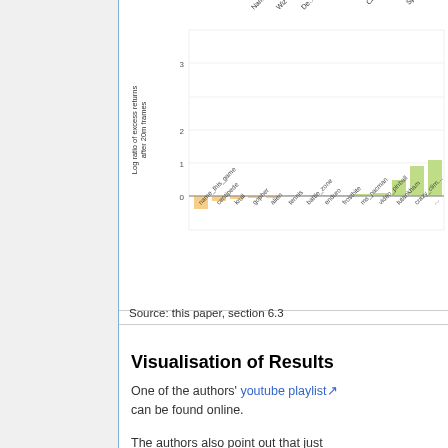[Figure (bar-chart): Log ratio of excess returns after 20m frames]
Source: this paper, section 6.3
Visualisation of Results
One of the authors' youtube playlist can be found online.
The authors also point out that just purely using bootstrapped DQN as an